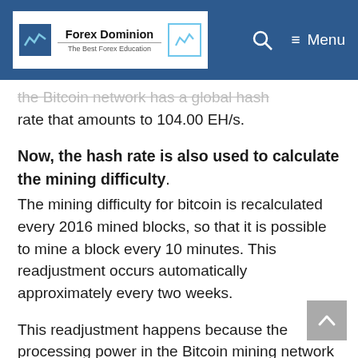Forex Dominion - The Best Forex Education
the Bitcoin network has a global hash rate that amounts to 104.00 EH/s.
Now, the hash rate is also used to calculate the mining difficulty.
The mining difficulty for bitcoin is recalculated every 2016 mined blocks, so that it is possible to mine a block every 10 minutes. This readjustment occurs automatically approximately every two weeks.
This readjustment happens because the processing power in the Bitcoin mining network increases each time a new miner joins it. As a consequence,